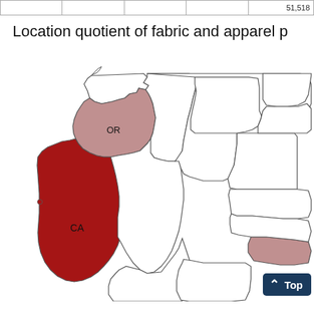|  |  |  |  | 51,518 |
Location quotient of fabric and apparel p
[Figure (map): Choropleth map of the western United States showing location quotient of fabric and apparel production by state. California (CA) is colored dark red indicating the highest concentration. Oregon (OR) is colored medium rose/mauve. Other western states are mostly white/uncolored. A small region in the lower right (partial view, possibly Kansas or Missouri area) is colored medium rose. The map is partially cropped on the right side.]